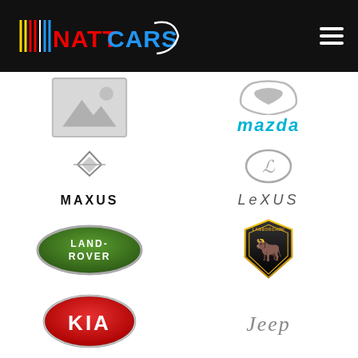NATTCARS
[Figure (logo): Placeholder image (no photo available)]
[Figure (logo): Mazda logo with cyan/blue italic text]
[Figure (logo): Maxus logo with stylized wing emblem and MAXUS text]
[Figure (logo): Lexus logo with L-in-oval emblem and LEXUS text]
[Figure (logo): Land Rover oval green badge logo]
[Figure (logo): Lamborghini shield logo with gold bull]
[Figure (logo): Kia oval red badge logo]
[Figure (logo): Jeep text logo in gray italic]